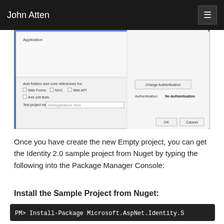John Atten
[Figure (screenshot): Visual Studio New Project dialog showing Add folders and core references for: Web Forms, MVC, Web API checkboxes; Add unit tests checkbox; Test project name field with 'WebApplication2.Tests'; Change Authentication button; Authentication: No Authentication label; OK and Cancel buttons.]
Once you have create the new Empty project, you can get the Identity 2.0 sample project from Nuget by typing the following into the Package Manager Console:
Install the Sample Project from Nuget:
PM> Install-Package Microsoft.AspNet.Identity.S